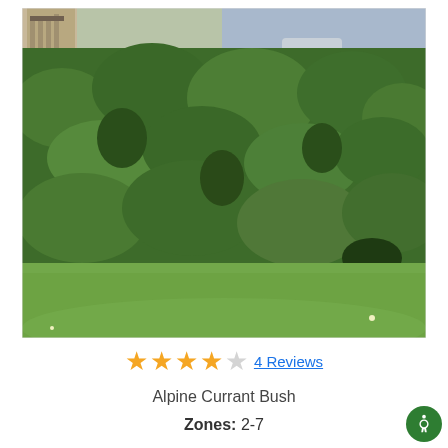[Figure (photo): A dense green hedge of Alpine Currant Bush shrubs with lawn grass in the foreground and a building structure visible in the background.]
★★★★☆ 4 Reviews
Alpine Currant Bush
Zones: 2-7